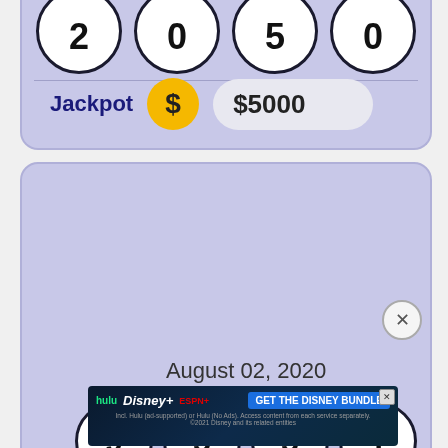[Figure (infographic): Top lottery card (partial) showing jackpot row with dollar coin icon and $5000 amount]
[Figure (infographic): Middle lottery card for August 02, 2020 showing balls with numbers 9, 5, 5, 1 and jackpot of $5000]
[Figure (infographic): Advertisement banner for Disney Bundle (Hulu, Disney+, ESPN+) with GET THE DISNEY BUNDLE CTA]
[Figure (infographic): Bottom card partial showing August 01, 2020 date text]